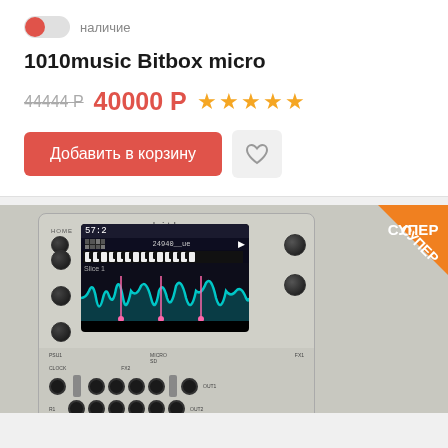наличие
1010music Bitbox micro
44444 Р  40000 Р  ★★★★★
Добавить в корзину
[Figure (photo): Photo of 1010music Bitbox micro eurorack sampler module with СУПЕР badge overlay in top-right corner]